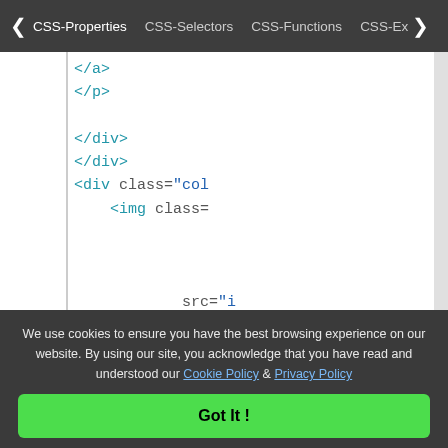< CSS-Properties   CSS-Selectors   CSS-Functions   CSS-Ex>
[Figure (screenshot): Code editor showing HTML closing tags: </a>, </p>, </div>, </div>, <div class="col, <img class=, src="i, alt="i, </div>, </div>, </li>]
We use cookies to ensure you have the best browsing experience on our website. By using our site, you acknowledge that you have read and understood our Cookie Policy & Privacy Policy
Got It !